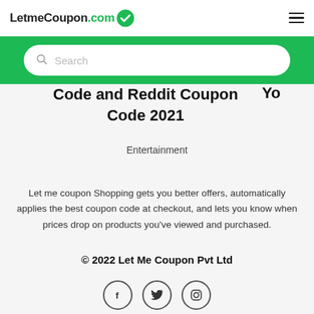LetmeCoupon.com [logo] [hamburger menu]
[Figure (screenshot): Green search bar with white rounded search box containing a search icon and 'Search' placeholder text]
Code and Reddit Coupon Code 2021 Yo
Entertainment
Let me coupon Shopping gets you better offers, automatically applies the best coupon code at checkout, and lets you know when prices drop on products you've viewed and purchased.
© 2022 Let Me Coupon Pvt Ltd
[Figure (other): Three social media icons: Facebook (f), Twitter (bird), Instagram (camera outline), each in a circular border]